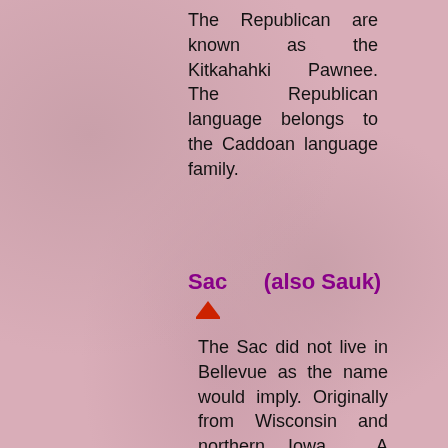The Republican are known as the Kitkahahki Pawnee. The Republican language belongs to the Caddoan language family.
Sac (also Sauk)
The Sac did not live in Bellevue as the name would imply. Originally from Wisconsin and northern Iowa. A member of the Algonquin...